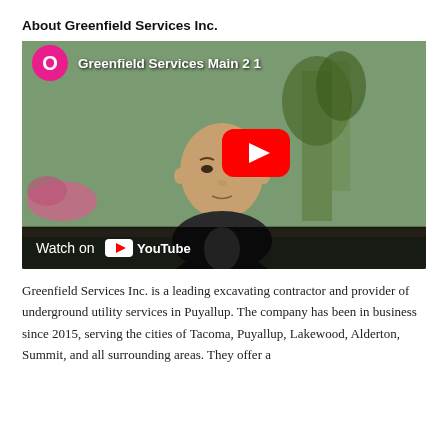About Greenfield Services Inc.
[Figure (screenshot): YouTube video thumbnail showing a man named Jacob wearing a Greenfield Services Inc. hoodie, standing outdoors. Video title: 'Greenfield Services Main 2 1'. YouTube play button visible. 'Watch on YouTube' shown in bottom bar.]
Greenfield Services Inc. is a leading excavating contractor and provider of underground utility services in Puyallup. The company has been in business since 2015, serving the cities of Tacoma, Puyallup, Lakewood, Alderton, Summit, and all surrounding areas. They offer a